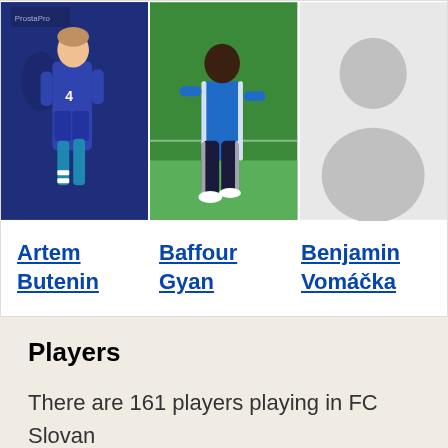[Figure (photo): Three player photos: soccer player in blue uniform, Baffour Gyan in blue tracksuit on green field, and a silhouette placeholder]
Artem Butenin
Baffour Gyan
Benjamin Vomáčka
Players
There are 161 players playing in FC Slovan Liberec.